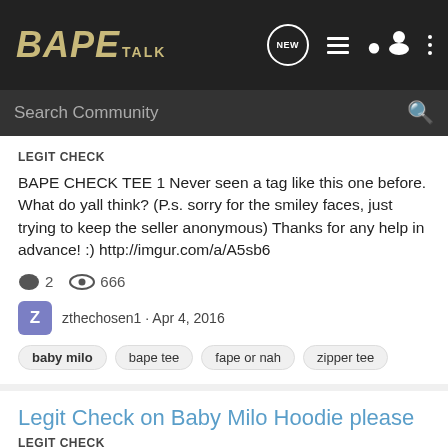BAPE TALK
Search Community
LEGIT CHECK
BAPE CHECK TEE 1 Never seen a tag like this one before. What do yall think? (P.s. sorry for the smiley faces, just trying to keep the seller anonymous) Thanks for any help in advance! :) http://imgur.com/a/A5sb6
2  666
zthechosen1 · Apr 4, 2016
baby milo
bape tee
fape or nah
zipper tee
Legit Check on Baby Milo Hoodie please
LEGIT CHECK
Can I get a legit check on this baby milo hoodie please?